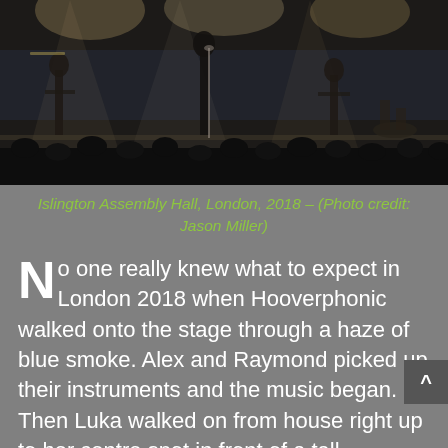[Figure (photo): Concert photo at Islington Assembly Hall, London, 2018. Musicians on stage with blue smoke haze and audience silhouettes in the foreground.]
Islington Assembly Hall, London, 2018 – (Photo credit: Jason Miller)
No one really knew what to expect in London 2018 when Hooverphonic walked onto the stage through a haze of blue smoke. Alex and Raymond picked up their instruments and the music began. Then Luka walked on from house right up to her centre spot in front of a tall microphone, then Inhaler took off.
Who was this girl, perhaps a last minute guest singer. When she stuck around for a few songs